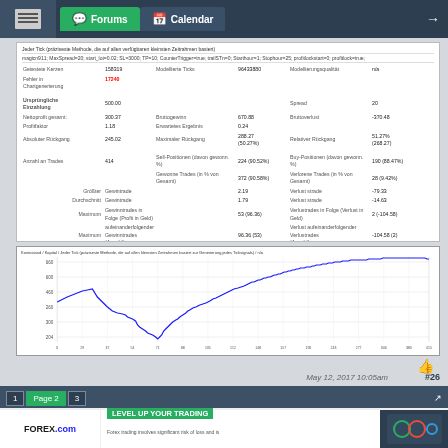Forums  Calendar
Jeder Tick (präziseste Methode, die auf allen verfügbaren kleinsten Zeitrahmen basiert)
magicn911; MaxSpread=20; start_lot=0.02; SL=3000; TP=10; CounterTrigger=true; trailSTn=0; Starthour=1; Stophour=25; profitlockstart=0; profitlock=true;
| Label | Value | Label | Value | Label | Value |
| --- | --- | --- | --- | --- | --- |
| Getestete Kerzen | 158319 | Modellierte Ticks | 96433880 | Modellierungsqualität | n/a |
| Fehler in Chartgenerierung | 17240 |  |  |  |  |
| Ursprüngliche Einzahlung | 500.00 |  |  | Spread | 20 |
| Nettoprofit gesamt: | 300.37 | Bruttogewinn | 670.88 | Bruttoverlust | -370.48 |
| Profitfaktor | 1.18 | Erwartetes Ergebnis | 0.24 |  |  |
| Absoluter Rückgang | 245.02 | Maximaler Rückgang | 288.27 (50.27%) | Relativer Rückgang | 51.27% (268.27) |
| Anzahl an Trades | 414 | Sell-Positionen (davon gewonn. %) | 224 (90.52%) | Buy-Positionen (davon gewonn. %) | 190 (88.47%) |
|  |  | Gewonne Trades (in % von Gesamt) | 372 (90.58%) | Verlorene Trades (in % von Gesamt) | 28 (9.42%) |
| Größter Gewintrade |  |  | 2.19 | Verlust strade | -79.33 |
| Durchschnitt Gewintrade |  |  | 1.79 | Verlust strade | -14.63 |
| Maximum Gewinntrades in Folge (Profit in Geld) |  |  | 53 (96.36) | Verlustrades in Folge (Verlust in Geld) | 2 (-104.58) |
| Maximum aufeinanderfolgender Gewinntrades (Anzahl) |  |  | 96.36 (53) | Verlust aufeinanderfolgender Verlustrades (Anzahl) | -104.58 (2) |
| Durchschnitt Gewinntrades in Folge |  |  | 51 | Verlustrades in Folge | 0 |
[Figure (line-chart): Line chart showing account balance growth over trades 0-415, starting around 500, dipping to ~265, then rising to ~665]
May 12, 2017 10:05am
#26
1  Page 2  3
FOREX.com  LEVEL UP YOUR TRADING  Forex trading involves significant risk of loss and is not suitable for all investors. *All StoneX